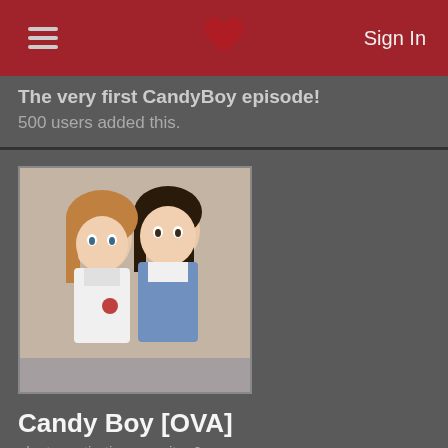Sign In
The very first CandyBoy episode!
500 users added this.
[Figure (illustration): Anime illustration showing two female characters close together, one with brown hair and one with dark hair, in school uniforms]
Candy Boy [OVA]
plantonantiartica gave it a 6.
Before Candy Boy (Kyandi Boi in Japanese) was a series, it was first released as an original net animation which lasted around eight minutes during November 22, 2007. A year later, it was followed by its seven episode series which ran from May 2, 2008
560 users added this.